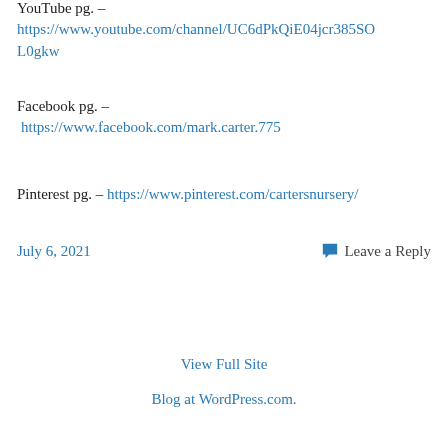YouTube pg. – https://www.youtube.com/channel/UC6dPkQiE04jcr385SOL0gkw
Facebook pg. – https://www.facebook.com/mark.carter.775
Pinterest pg. – https://www.pinterest.com/cartersnursery/
July 6, 2021
Leave a Reply
View Full Site
Blog at WordPress.com.